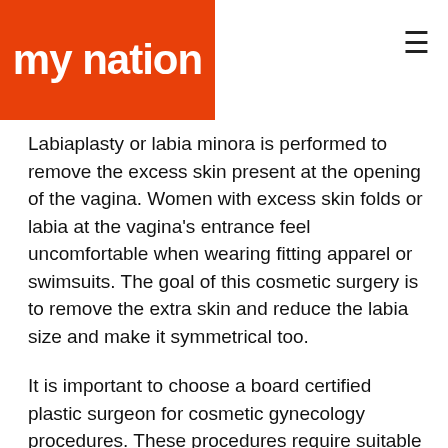[Figure (logo): My Nation logo — white text on orange-red background]
Labiaplasty or labia minora is performed to remove the excess skin present at the opening of the vagina. Women with excess skin folds or labia at the vagina's entrance feel uncomfortable when wearing fitting apparel or swimsuits. The goal of this cosmetic surgery is to remove the extra skin and reduce the labia size and make it symmetrical too.
It is important to choose a board certified plastic surgeon for cosmetic gynecology procedures. These procedures require suitable knowledge and experience in the field of gynecology, urogynecology, urology, and plastic surgery for best outcomes and safe recovery.
Dr. HarikiranChekuri is one of the most experienced and certified plastic surgeon who performs cosmetic gynecology procedures in Hyderabad. He has nearly fourteen years of experience in performing cosmetic procedures across all specialties. Dr. HarikiranChekuri is an extremely proficient surgeon with a track record of exceptional outcomes across his